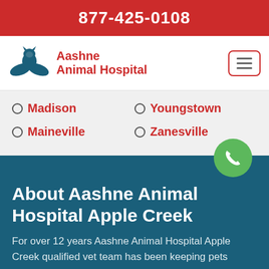877-425-0108
[Figure (logo): Aashne Animal Hospital logo with teal hands cradling a cat silhouette and red text]
Madison
Maineville
Youngstown
Zanesville
About Aashne Animal Hospital Apple Creek
For over 12 years Aashne Animal Hospital Apple Creek qualified vet team has been keeping pets healthy. Aashne Animal Hospital Apple Creek is a known name and acclaimed for its exceptional pet health, care, and welfare of animals devoted vets treat every animal and pet as if it were our own